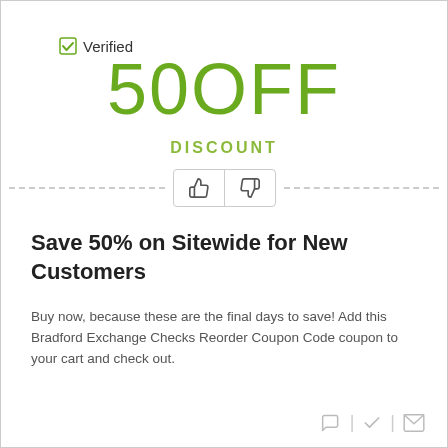[Figure (infographic): Verified checkmark badge with green checkbox icon and text 'Verified']
50OFF
DISCOUNT
[Figure (infographic): Thumbs up and thumbs down rating buttons separated by a vertical divider, flanked by dashed lines on both sides]
Save 50% on Sitewide for New Customers
Buy now, because these are the final days to save! Add this Bradford Exchange Checks Reorder Coupon Code coupon to your cart and check out.
[Figure (infographic): Green 'GET CODE' button with a tag shape revealing partial code 'UH']
[Figure (infographic): Footer icons: speech bubble, checkmark, and mail envelope separated by vertical bars]